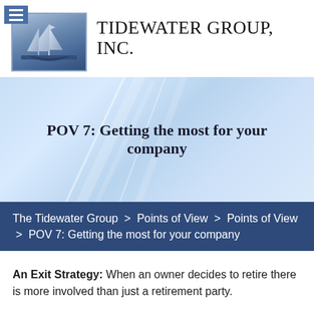TIDEWATER GROUP, INC.
POV 7: Getting the most for your company
The Tidewater Group > Points of View > Points of View > POV 7: Getting the most for your company
An Exit Strategy: When an owner decides to retire there is more involved than just a retirement party.